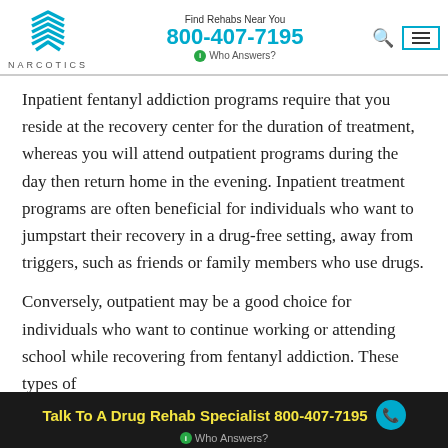NARCOTICS | Find Rehabs Near You | 800-407-7195 | Who Answers?
Inpatient fentanyl addiction programs require that you reside at the recovery center for the duration of treatment, whereas you will attend outpatient programs during the day then return home in the evening. Inpatient treatment programs are often beneficial for individuals who want to jumpstart their recovery in a drug-free setting, away from triggers, such as friends or family members who use drugs.
Conversely, outpatient may be a good choice for individuals who want to continue working or attending school while recovering from fentanyl addiction. These types of
Talk To A Drug Rehab Specialist 800-407-7195 | Who Answers?